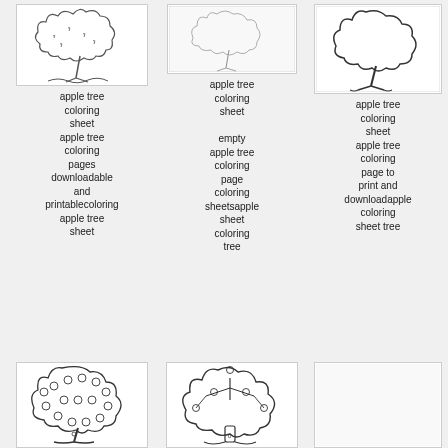[Figure (illustration): Hand-drawn apple tree coloring page sketch thumbnail]
apple tree coloring sheet apple tree coloring pages downloadable and printablecoloring apple tree sheet
[Figure (illustration): Apple tree coloring sheet thumbnail with faint outline]
apple tree coloring sheet empty apple tree coloring page coloring sheetsapple sheet coloring tree
[Figure (illustration): Apple tree coloring page outline thumbnail]
apple tree coloring sheet apple tree coloring page to print and downloadapple coloring sheet tree
[Figure (illustration): Apple tree with many apples coloring page thumbnail]
[Figure (illustration): Apple tree with apples and trunk coloring page thumbnail]
[Figure (illustration): Partially visible apple tree coloring page thumbnail]